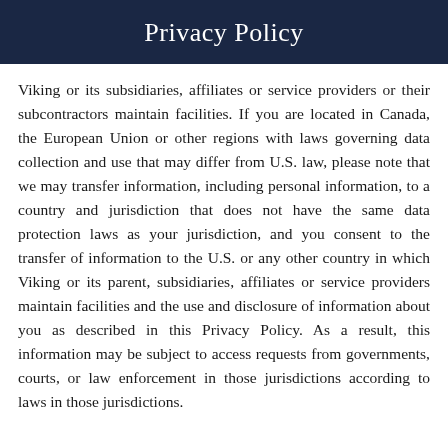Privacy Policy
Viking or its subsidiaries, affiliates or service providers or their subcontractors maintain facilities. If you are located in Canada, the European Union or other regions with laws governing data collection and use that may differ from U.S. law, please note that we may transfer information, including personal information, to a country and jurisdiction that does not have the same data protection laws as your jurisdiction, and you consent to the transfer of information to the U.S. or any other country in which Viking or its parent, subsidiaries, affiliates or service providers maintain facilities and the use and disclosure of information about you as described in this Privacy Policy. As a result, this information may be subject to access requests from governments, courts, or law enforcement in those jurisdictions according to laws in those jurisdictions.